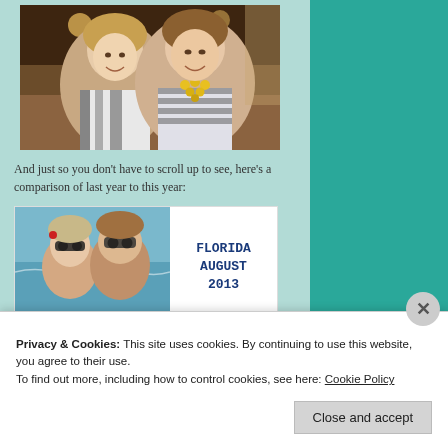[Figure (photo): Two women smiling at a restaurant table, one wearing a black and white patterned top, the other wearing a striped top with a yellow necklace]
And just so you don’t have to scroll up to see, here’s a comparison of last year to this year:
[Figure (photo): Composite image: left side shows two women wearing sunglasses outdoors near water; right side shows text 'FLORIDA AUGUST 2013' in dark blue bold font on white background]
Privacy & Cookies: This site uses cookies. By continuing to use this website, you agree to their use.
To find out more, including how to control cookies, see here: Cookie Policy